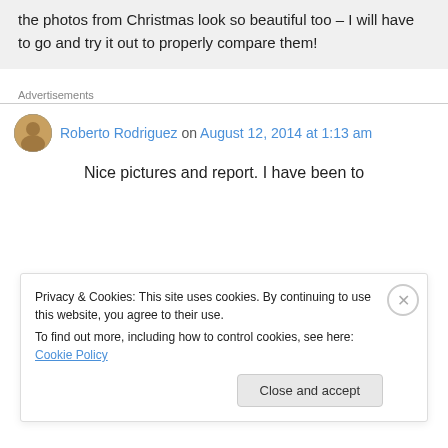the photos from Christmas look so beautiful too – I will have to go and try it out to properly compare them!
Advertisements
Roberto Rodriguez on August 12, 2014 at 1:13 am
Nice pictures and report. I have been to
Privacy & Cookies: This site uses cookies. By continuing to use this website, you agree to their use. To find out more, including how to control cookies, see here: Cookie Policy
Close and accept